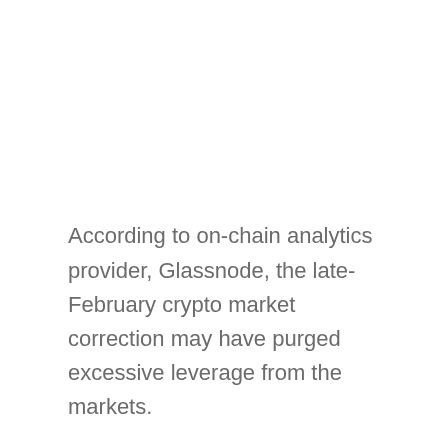According to on-chain analytics provider, Glassnode, the late-February crypto market correction may have purged excessive leverage from the markets.